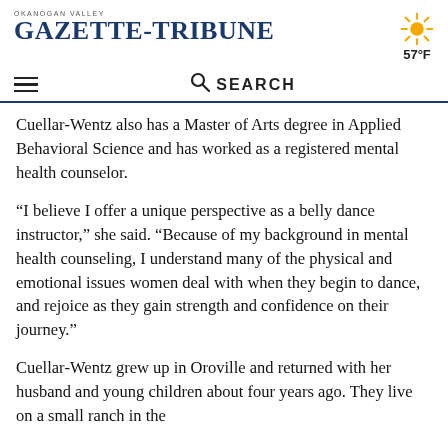OKANOGAN VALLEY GAZETTE-TRIBUNE
57°F
SEARCH
Cuellar-Wentz also has a Master of Arts degree in Applied Behavioral Science and has worked as a registered mental health counselor.
“I believe I offer a unique perspective as a belly dance instructor,” she said. “Because of my background in mental health counseling, I understand many of the physical and emotional issues women deal with when they begin to dance, and rejoice as they gain strength and confidence on their journey.”
Cuellar-Wentz grew up in Oroville and returned with her husband and young children about four years ago. They live on a small ranch in the